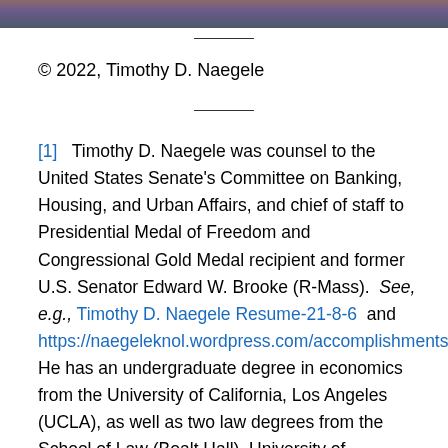[Figure (photo): Partial photo strip at top of page showing a crowd or group of people, cropped.]
© 2022, Timothy D. Naegele
[1]  Timothy D. Naegele was counsel to the United States Senate's Committee on Banking, Housing, and Urban Affairs, and chief of staff to Presidential Medal of Freedom and Congressional Gold Medal recipient and former U.S. Senator Edward W. Brooke (R-Mass).  See, e.g., Timothy D. Naegele Resume-21-8-6  and https://naegeleknol.wordpress.com/accomplishments/  He has an undergraduate degree in economics from the University of California, Los Angeles (UCLA), as well as two law degrees from the School of Law (Boalt Hall), University of California, Berkeley, and from Georgetown University.  He served as a Captain in the U.S. Army